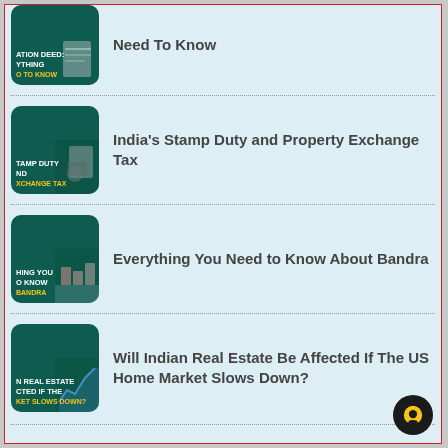Need To Know
India's Stamp Duty and Property Exchange Tax
Everything You Need to Know About Bandra
Will Indian Real Estate Be Affected If The US Home Market Slows Down?